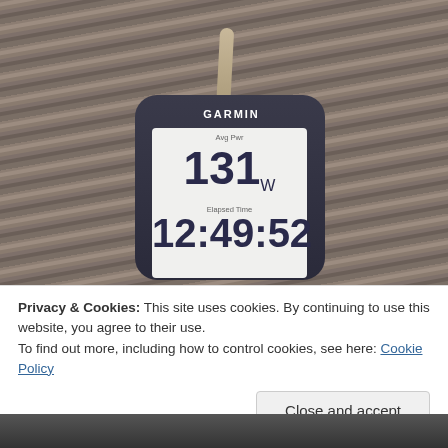[Figure (photo): Garmin GPS/cycling computer device lying on a wooden surface, viewed from above. The device display shows Avg Pwr 131W and Elapsed Time 12:49:52. The device has an antenna visible at the top.]
Privacy & Cookies: This site uses cookies. By continuing to use this website, you agree to their use.
To find out more, including how to control cookies, see here: Cookie Policy
Close and accept
[Figure (photo): Partial view of another photo at the bottom of the page, mostly obscured.]